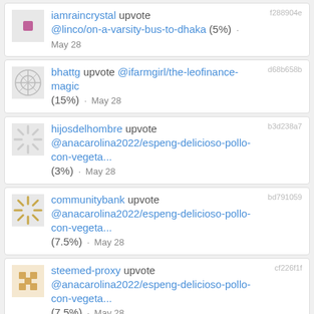iamraincrystal upvote @linco/on-a-varsity-bus-to-dhaka (5%) · May 28 [f288904e]
bhattg upvote @ifarmgirl/the-leofinance-magic (15%) · May 28 [d68b658b]
hijosdelhombre upvote @anacarolina2022/espeng-delicioso-pollo-con-vegeta... (3%) · May 28 [b3d238a7]
communitybank upvote @anacarolina2022/espeng-delicioso-pollo-con-vegeta... (7.5%) · May 28 [bd791059]
steemed-proxy upvote @anacarolina2022/espeng-delicioso-pollo-con-vegeta... (7.5%) · May 28 [cf226f1f]
carvanha Splinterlands entered into match queue May 28 [8be099a3]
tamdt1 Splinterlands gift cards to tamdt2 [962abfa3]